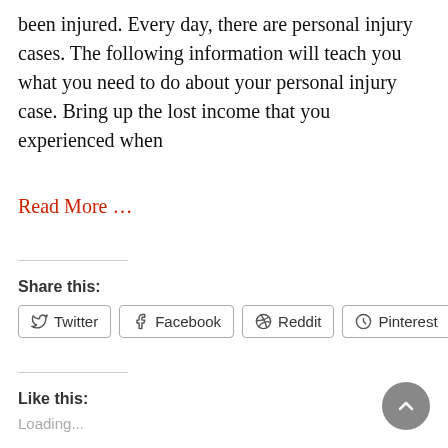been injured. Every day, there are personal injury cases. The following information will teach you what you need to do about your personal injury case. Bring up the lost income that you experienced when
Read More …
Share this:
Twitter  Facebook  Reddit  Pinterest  Tumblr
Like this:
Loading...